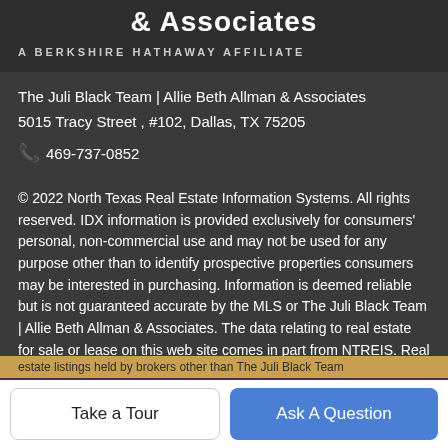& Associates
A BERKSHIRE HATHAWAY AFFILIATE
The Juli Black Team | Allie Beth Allman & Associates
5015 Tracy Street , #102, Dallas, TX 75205
📞 469-737-0852
© 2022 North Texas Real Estate Information Systems. All rights reserved. IDX information is provided exclusively for consumers' personal, non-commercial use and may not be used for any purpose other than to identify prospective properties consumers may be interested in purchasing. Information is deemed reliable but is not guaranteed accurate by the MLS or The Juli Black Team | Allie Beth Allman & Associates. The data relating to real estate for sale or lease on this web site comes in part from NTREIS. Real estate listings held by brokers other than The Juli Black Team
Take a Tour | Ask A Question